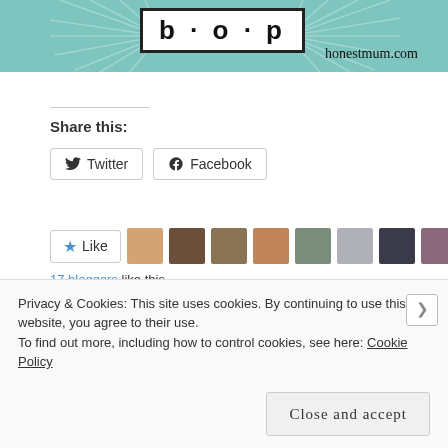[Figure (logo): Honest Mum blog banner with teal/mint burst background, bold text in a white box, and 'honestmum.com' URL]
Share this:
Twitter   Facebook
Like  [17 blogger avatars]  17 bloggers like this.
So much for a tantrum-free Christmas...
December 28, 2015
Parenting is hard work
February 9, 2016
In "Motherhood"
Privacy & Cookies: This site uses cookies. By continuing to use this website, you agree to their use.
To find out more, including how to control cookies, see here: Cookie Policy
Close and accept